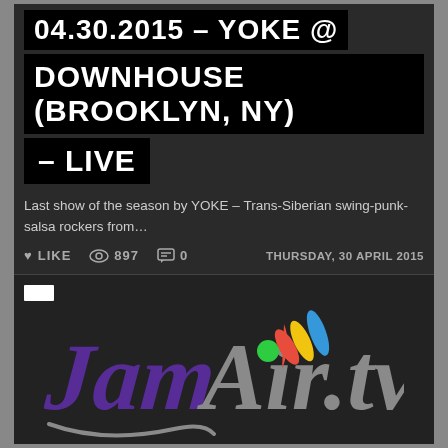04.30.2015 – YOKE @ DOWNHOUSE (BROOKLYN, NY) – LIVE
Last show of the season by YOKE – Trans-Siberian swing-punk-salsa rockers from…
❤ LIKE  👁 897  💬 0  THURSDAY, 30 APRIL 2015
[Figure (logo): JamAir.tv logo with colorful signal arcs]